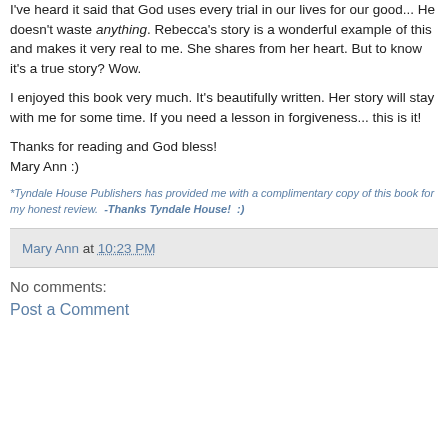I've heard it said that God uses every trial in our lives for our good... He doesn't waste anything. Rebecca's story is a wonderful example of this and makes it very real to me. She shares from her heart. But to know it's a true story? Wow.
I enjoyed this book very much. It's beautifully written. Her story will stay with me for some time. If you need a lesson in forgiveness... this is it!
Thanks for reading and God bless!
Mary Ann :)
*Tyndale House Publishers has provided me with a complimentary copy of this book for my honest review.  -Thanks Tyndale House!  :)
Mary Ann at 10:23 PM
No comments:
Post a Comment